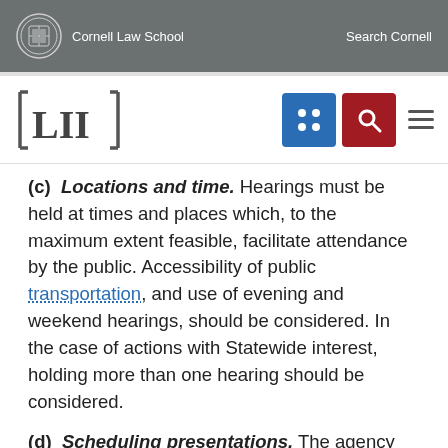Cornell Law School   Search Cornell
[Figure (logo): LII (Legal Information Institute) logo with Cornell Law School navigation bar including search and menu icons]
(c) Locations and time. Hearings must be held at times and places which, to the maximum extent feasible, facilitate attendance by the public. Accessibility of public transportation, and use of evening and weekend hearings, should be considered. In the case of actions with Statewide interest, holding more than one hearing should be considered.
(d) Scheduling presentations. The agency holding the hearing shall schedule witnesses in advance, when necessary, to ensure maximum participation and allotment of adequate time for all parties and interested persons.